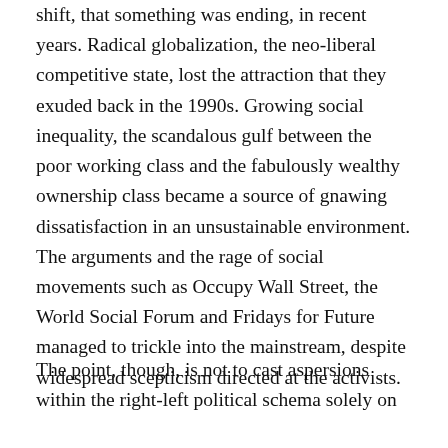shift, that something was ending, in recent years. Radical globalization, the neo-liberal competitive state, lost the attraction that they exuded back in the 1990s. Growing social inequality, the scandalous gulf between the poor working class and the fabulously wealthy ownership class became a source of gnawing dissatisfaction in an unsustainable environment. The arguments and the rage of social movements such as Occupy Wall Street, the World Social Forum and Fridays for Future managed to trickle into the mainstream, despite widespread scepticism directed at the activists.
The point, though, is not to cast aspersions within the right-left political schema solely on